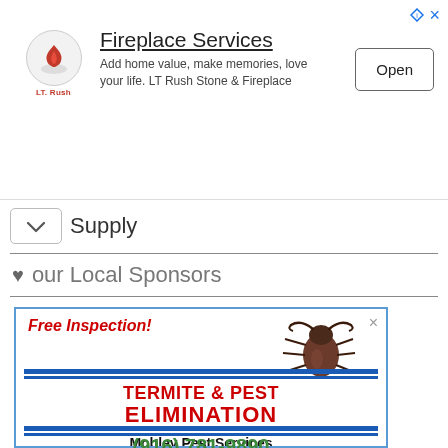[Figure (infographic): Top advertisement banner for LT Rush Stone & Fireplace - Fireplace Services. Shows logo, descriptive text, and Open button.]
Supply
♥ our Local Sponsors
[Figure (infographic): Advertisement for Mobley Pest Services - Free Inspection! Termite & Pest Elimination. Phone (916) 781-9890. Features a stag beetle image.]